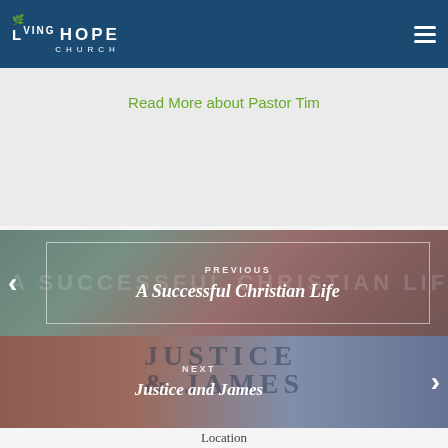Living Hope Church
Read More about Pastor Tim
[Figure (photo): Previous sermon image with pomegranates/fruit in background, navigation arrow on left, box with PREVIOUS label and title A Successful Christian Life]
[Figure (photo): Next sermon image showing Justice and James sign in background, navigation arrow on right, NEXT label and title Justice and James]
Location